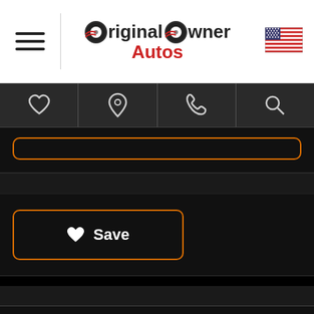Original Owner Autos
[Figure (screenshot): Navigation bar with heart/favorites, location pin, phone, and search icons on dark background]
[Figure (screenshot): Orange-bordered input box on dark background]
[Figure (screenshot): Save button with heart icon, orange border, on dark background]
SPECS
Year : 2014